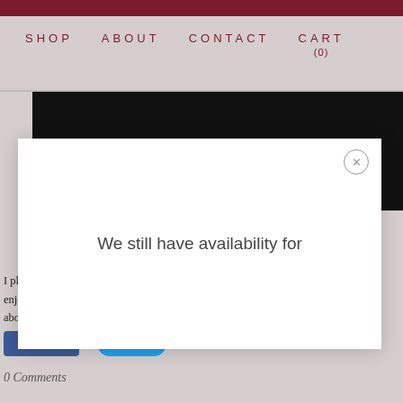SHOP   ABOUT   CONTACT   CART
(0)
[Figure (screenshot): Dark black image region behind modal]
[Figure (screenshot): Modal popup with text: We still have availability for, and an X close button]
I plan to go into detail on these points and many more throughout enjoy. Feel free to email us or add comments if there are certain about how I would handle it. Thanks!
Like 1   Tweet
0 Comments